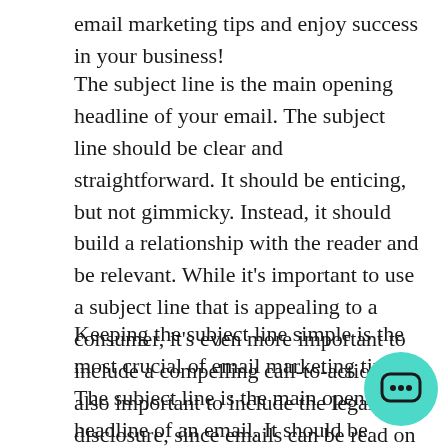email marketing tips and enjoy success in your business!
The subject line is the main opening headline of your email. The subject line should be clear and straightforward. It should be enticing, but not gimmicky. Instead, it should build a relationship with the reader and be relevant. While it's important to use a subject line that is appealing to a consumer, it's even more important to include a compelling call-to-action. It's also important to include the legal disclosure, since emails can be read on any device.
Keeping the subject line simple is the most crucial of email marketing tips. The subject line is the main opening headline of an email. It should be simple and effective, but it should also be persuasive enough to encourage readers to open it. Your readers will be more likely to open your emails if they are interesting and engaging. A